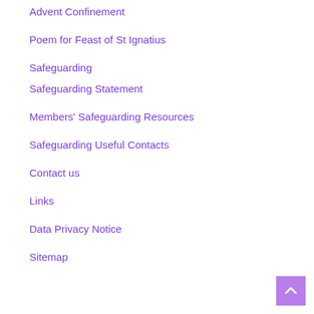Advent Confinement
Poem for Feast of St Ignatius
Safeguarding
Safeguarding Statement
Members' Safeguarding Resources
Safeguarding Useful Contacts
Contact us
Links
Data Privacy Notice
Sitemap
[Figure (other): Back to top button with upward chevron arrow, purple background]